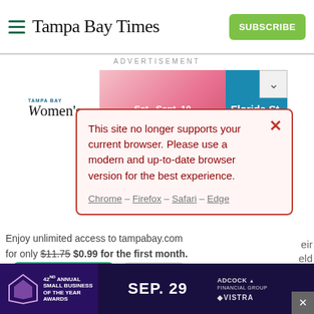[Figure (screenshot): Tampa Bay Times website header with hamburger menu icon, Tampa Bay Times logo in serif font, and green Subscribe button]
ADVERTISEMENT
[Figure (screenshot): Advertisement banner showing Tampa Bay Women's event, Sat. Sept. 10, Florida St. with teal accent]
[Figure (screenshot): Browser compatibility warning modal with pink/red border: 'This site no longer supports your current browser. Please use a modern and up-to-date browser version for the best experience. Chrome – Firefox – Safari – Edge']
Enjoy unlimited access to tampabay.com for only $11.75 $0.99 for the first month.
[Figure (screenshot): Subscribe button (teal/green) and Log In button (gray)]
Interested in print delivery? Subscribe here →
[Figure (screenshot): Bottom advertisement: 42nd Annual Small Business of the Year Awards, Sep. 29, Adcock Financial Group, Vistra logos on dark purple background]